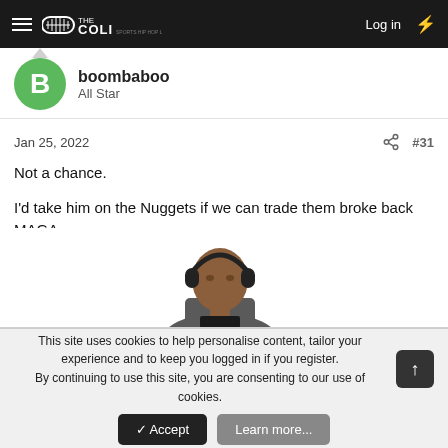THE COLI — Log in
boombaboo
All Star
Jan 25, 2022   #31
Not a chance.

I'd take him on the Nuggets if we can trade them broke back MAGA

Porter though
[Figure (photo): Person wearing headphones in a suit, seated, looking serious]
This site uses cookies to help personalise content, tailor your experience and to keep you logged in if you register.
By continuing to use this site, you are consenting to our use of cookies.